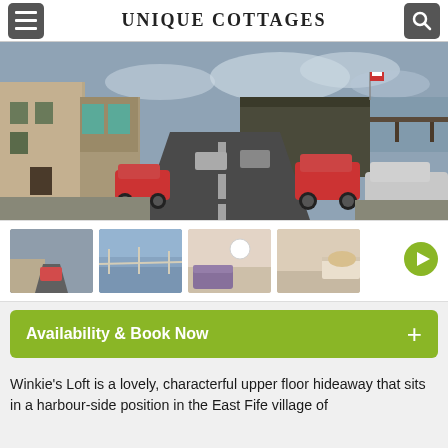UNIQUE COTTAGES
[Figure (photo): Street view of a Scottish coastal village with stone buildings on the left and a harbour building in the background, cars parked on both sides of the road.]
[Figure (photo): Four thumbnail photos of the property and surroundings: street view, beach/sea view, living room interior, and another interior room view.]
Availability & Book Now
Winkie's Loft is a lovely, characterful upper floor hideaway that sits in a harbour-side position in the East Fife village of